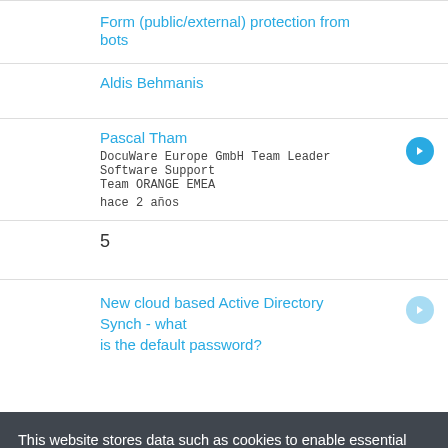Form (public/external) protection from bots
Aldis Behmanis
Pascal Tham
DocuWare Europe GmbH Team Leader Software Support Team ORANGE EMEA
hace 2 años
5
New cloud based Active Directory Synch - what is the default password?
This website stores data such as cookies to enable essential site functionality, as well as marketing, personalization, and analytics. Data Storage Policy
Accept
Deny